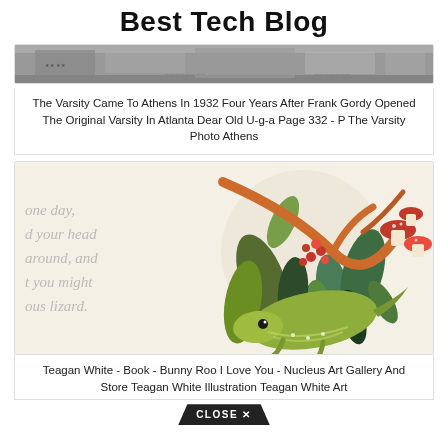Best Tech Blog
[Figure (photo): Grayscale photograph strip, partial view of a scene related to The Varsity restaurant]
The Varsity Came To Athens In 1932 Four Years After Frank Gordy Opened The Original Varsity In Atlanta Dear Old U-g-a Page 332 - P The Varsity Photo Athens
[Figure (photo): Illustrated children's book page showing colorful botanical illustration with a lizard/whale creature surrounded by plants, mushrooms, and berries, with partial italic text 'one day, d your head around, and t you might ous lizard.']
Teagan White - Book - Bunny Roo I Love You - Nucleus Art Gallery And Store Teagan White Illustration Teagan White Art